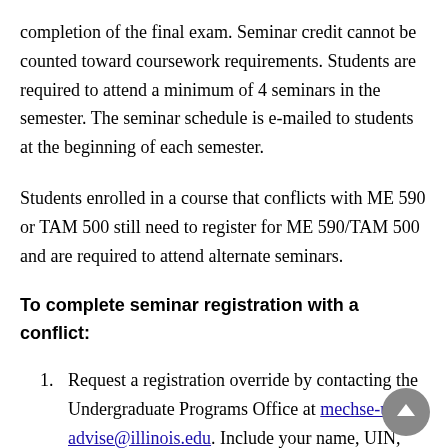completion of the final exam. Seminar credit cannot be counted toward coursework requirements. Students are required to attend a minimum of 4 seminars in the semester. The seminar schedule is e-mailed to students at the beginning of each semester.
Students enrolled in a course that conflicts with ME 590 or TAM 500 still need to register for ME 590/TAM 500 and are required to attend alternate seminars.
To complete seminar registration with a conflict:
1. Request a registration override by contacting the Undergraduate Programs Office at mechse-ug-advise@illinois.edu. Include your name, UIN, and the course you are enrolled in that is in conflict with the